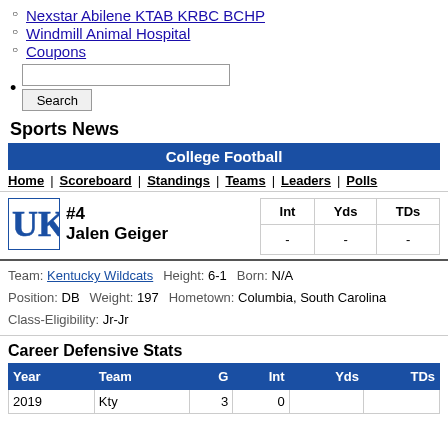Nexstar Abilene KTAB KRBC BCHP
Windmill Animal Hospital
Coupons
Search [input] Search [button]
Sports News
College Football
Home | Scoreboard | Standings | Teams | Leaders | Polls
#4 Jalen Geiger
| Int | Yds | TDs |
| --- | --- | --- |
| - | - | - |
Team: Kentucky Wildcats  Height: 6-1  Born: N/A
Position: DB  Weight: 197  Hometown: Columbia, South Carolina
Class-Eligibility: Jr-Jr
Career Defensive Stats
| Year | Team | G | Int | Yds | TDs |
| --- | --- | --- | --- | --- | --- |
| 2019 | Kty | 3 | 0 |  |  |